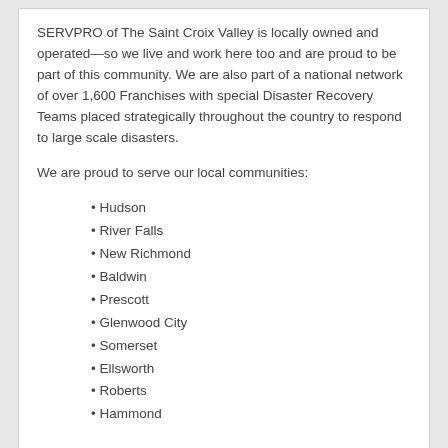SERVPRO of The Saint Croix Valley is locally owned and operated—so we live and work here too and are proud to be part of this community. We are also part of a national network of over 1,600 Franchises with special Disaster Recovery Teams placed strategically throughout the country to respond to large scale disasters.
We are proud to serve our local communities:
Hudson
River Falls
New Richmond
Baldwin
Prescott
Glenwood City
Somerset
Ellsworth
Roberts
Hammond
[ GET HELP ] 24 HOUR SERVICE